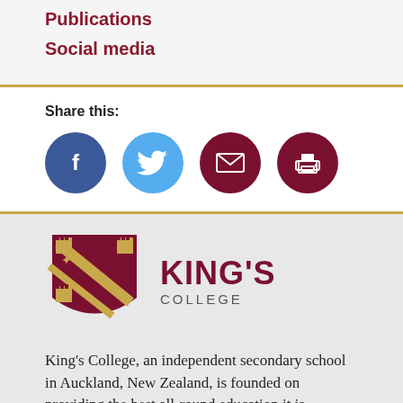Publications
Social media
Share this:
[Figure (infographic): Social sharing icons: Facebook (blue circle with f), Twitter (light blue circle with bird), Email (dark red circle with envelope), Print (dark red circle with printer)]
[Figure (logo): King's College crest/shield logo with gold and maroon colors, alongside KING'S COLLEGE text in maroon]
King's College, an independent secondary school in Auckland, New Zealand, is founded on providing the best all-round education it is possible to obtain.
This central ideal still motivates us today.